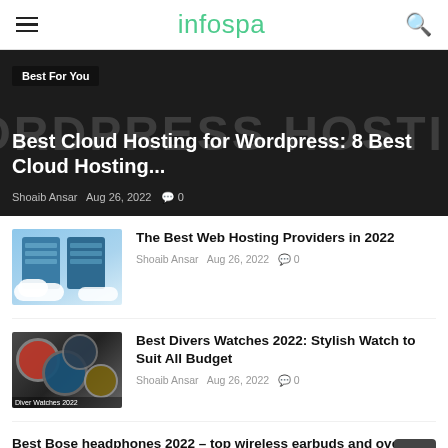infospa
[Figure (photo): Dark background with large faded text reading WORDPRESS HOSTING; hero article image with badge, title, and author meta]
Best For You
Best Cloud Hosting for Wordpress: 8 Best Cloud Hosting...
Shoaib Ansar  Aug 26, 2022  0
[Figure (illustration): Server/cloud hosting illustration with blue server blocks and white clouds on light blue background]
The Best Web Hosting Providers in 2022
Shoaib Ansar  Aug 26, 2022  0
[Figure (photo): Collection of divers watches, dark tones with orange and blue watch faces]
Best Divers Watches 2022: Stylish Watch to Suit All Budget
Shoaib Ansar  Aug 26, 2022  0
Best Bose headphones 2022 – top wireless earbuds and over-ears